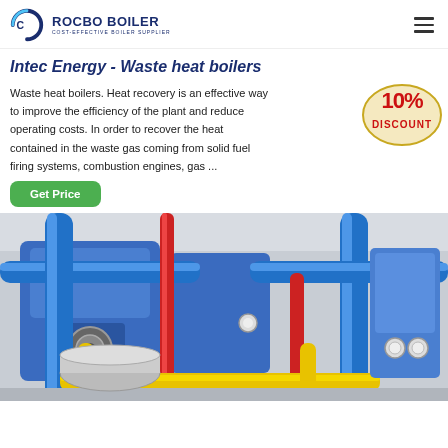[Figure (logo): Rocbo Boiler logo with circular icon and text 'ROCBO BOILER - COST-EFFECTIVE BOILER SUPPLIER']
Intec Energy - Waste heat boilers
Waste heat boilers. Heat recovery is an effective way to improve the efficiency of the plant and reduce operating costs. In order to recover the heat contained in the waste gas coming from solid fuel firing systems, combustion engines, gas ...
[Figure (infographic): 10% DISCOUNT badge/stamp in red and yellow]
Get Price
[Figure (photo): Industrial boiler room with blue pipes, red pipes, yellow pipes, large cylindrical boiler vessels, gauges and valves]